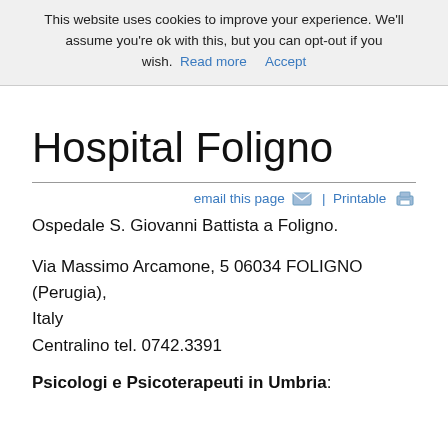This website uses cookies to improve your experience. We'll assume you're ok with this, but you can opt-out if you wish. Read more  Accept
Hospital Foligno
email this page | Printable
Ospedale S. Giovanni Battista a Foligno.
Via Massimo Arcamone, 5 06034 FOLIGNO (Perugia), Italy
Centralino tel. 0742.3391
Psicologi e Psicoterapeuti in Umbria: